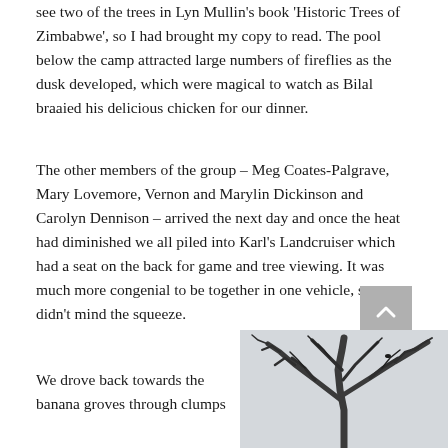see two of the trees in Lyn Mullin's book 'Historic Trees of Zimbabwe', so I had brought my copy to read. The pool below the camp attracted large numbers of fireflies as the dusk developed, which were magical to watch as Bilal braaied his delicious chicken for our dinner.
The other members of the group – Meg Coates-Palgrave, Mary Lovemore, Vernon and Marylin Dickinson and Carolyn Dennison – arrived the next day and once the heat had diminished we all piled into Karl's Landcruiser which had a seat on the back for game and tree viewing. It was much more congenial to be together in one vehicle, so we didn't mind the squeeze.
We drove back towards the banana groves through clumps
[Figure (photo): Black and white photograph looking up at bare tree branches against a light sky, showing complex branching pattern of a large tree.]